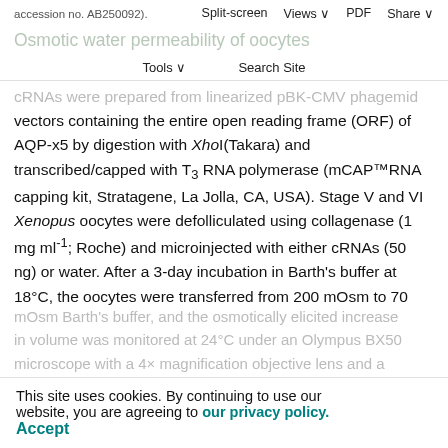accession no. AB250092).  Split-screen  Views  PDF  Share
Osmotic water permeability of oocytes
Tools  Search Site
cRNAs were prepared from linearized pBK-CMV phagemid vectors containing the entire open reading frame (ORF) of AQP-x5 by digestion with XhoI(Takara) and transcribed/capped with T3 RNA polymerase (mCAP™RNA capping kit, Stratagene, La Jolla, CA, USA). Stage V and VI Xenopus oocytes were defolliculated using collagenase (1 mg ml⁻¹; Roche) and microinjected with either cRNAs (50 ng) or water. After a 3-day incubation in Barth's buffer at 18°C, the oocytes were transferred from 200 mOsm to 70
mOsm Barth's buffer, and the osmotically elicited increase in volume was monitored at 24°C under an Olympus BX50 microscope with a 4× magnification objective lens and a CCD camera connected to a computer. The coefficient of
This site uses cookies. By continuing to use our website, you are agreeing to our privacy policy.
Accept